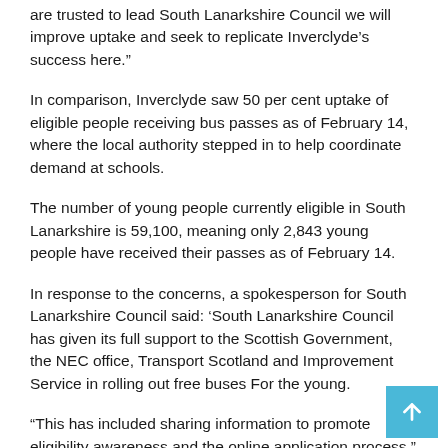are trusted to lead South Lanarkshire Council we will improve uptake and seek to replicate Inverclyde’s success here.”
In comparison, Inverclyde saw 50 per cent uptake of eligible people receiving bus passes as of February 14, where the local authority stepped in to help coordinate demand at schools.
The number of young people currently eligible in South Lanarkshire is 59,100, meaning only 2,843 young people have received their passes as of February 14.
In response to the concerns, a spokesperson for South Lanarkshire Council said: ‘South Lanarkshire Council has given its full support to the Scottish Government, the NEC office, Transport Scotland and Improvement Service in rolling out free buses For the young.
“This has included sharing information to promote eligibility awareness and the online application process.”